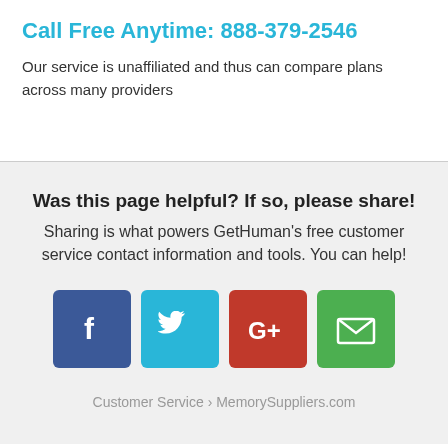Call Free Anytime: 888-379-2546
Our service is unaffiliated and thus can compare plans across many providers
Was this page helpful? If so, please share!
Sharing is what powers GetHuman's free customer service contact information and tools. You can help!
[Figure (infographic): Four social sharing buttons: Facebook (blue), Twitter (light blue), Google+ (red), Email (green)]
Customer Service › MemorySuppliers.com